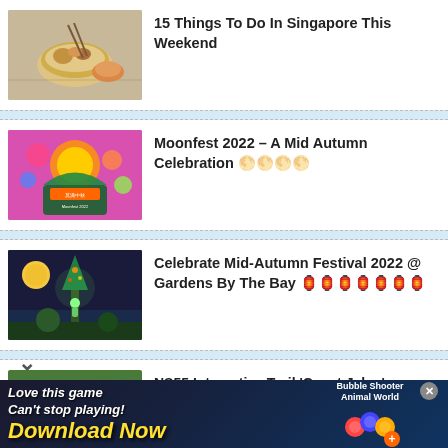15 Things To Do In Singapore This Weekend
Moonfest 2022 – A Mid Autumn Celebration 🌕🌕🌕🌕
Celebrate Mid-Autumn Festival 2022 @ Gardens By The Bay 🏮🏮🏮🏮🏮🏮🏮
NS55 Interactive Trail 'Cepat Jalan'
[Figure (other): Advertisement banner for a mobile game 'Bubble Shooter Animal World' with text 'Love this game Can't stop playing! Download Now']